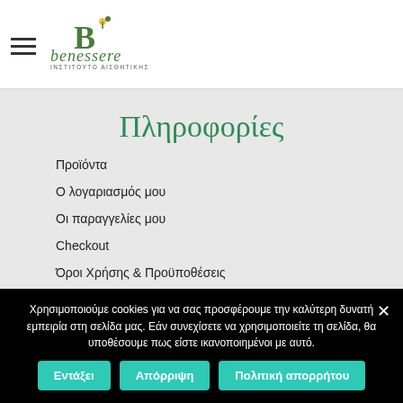benessere - ΙΝΣΤΙΤΟΥΤΟ ΑΙΣΘΗΤΙΚΗΣ
Πληροφορίες
Προϊόντα
Ο λογαριασμός μου
Οι παραγγελίες μου
Checkout
Όροι Χρήσης & Προϋποθέσεις
Τρόποι Πληρωμής & Αποστολής
Πολιτική Επιστροφών/Ακύρωσης
Χρησιμοποιούμε cookies για να σας προσφέρουμε την καλύτερη δυνατή εμπειρία στη σελίδα μας. Εάν συνεχίσετε να χρησιμοποιείτε τη σελίδα, θα υποθέσουμε πως είστε ικανοποιημένοι με αυτό.
Εντάξει | Απόρριψη | Πολιτική απορρήτου